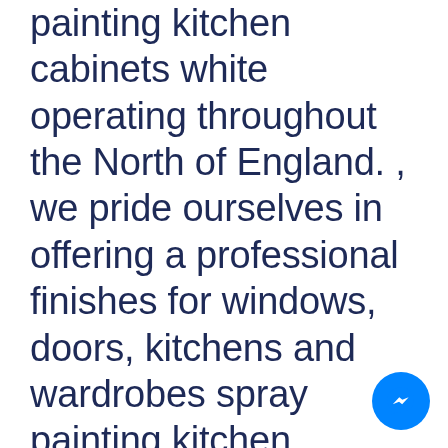painting kitchen cabinets white operating throughout the North of England. , we pride ourselves in offering a professional finishes for windows, doors, kitchens and wardrobes spray painting kitchen cabinets white. We use K2 paint, as well as the latest coating techniques, offering a fast effective way t
[Figure (other): Facebook Messenger chat button (blue circle with white lightning bolt/chat icon) in the bottom-right corner]